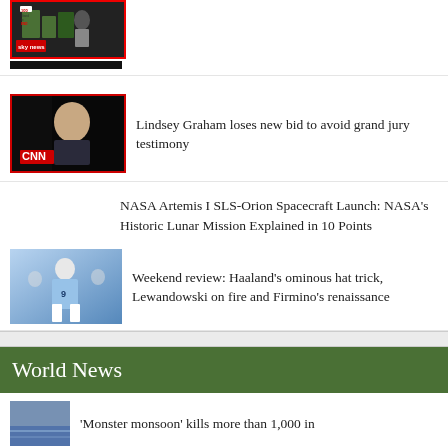[Figure (screenshot): Sky News thumbnail with protest/demonstration scene, red border, black bar below]
[Figure (screenshot): CNN thumbnail showing Lindsey Graham in dark setting, red border, CNN logo overlay]
Lindsey Graham loses new bid to avoid grand jury testimony
NASA Artemis I SLS-Orion Spacecraft Launch: NASA's Historic Lunar Mission Explained in 10 Points
[Figure (photo): Sports photo of Haaland (footballer) in light blue Manchester City kit]
Weekend review: Haaland's ominous hat trick, Lewandowski on fire and Firmino's renaissance
World News
[Figure (photo): Partial thumbnail of monsoon flooding scene]
'Monster monsoon' kills more than 1,000 in